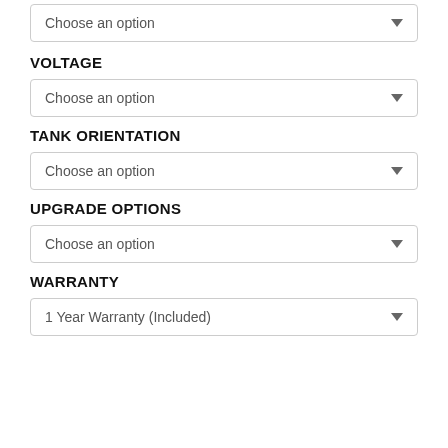Choose an option
VOLTAGE
Choose an option
TANK ORIENTATION
Choose an option
UPGRADE OPTIONS
Choose an option
WARRANTY
1 Year Warranty (Included)